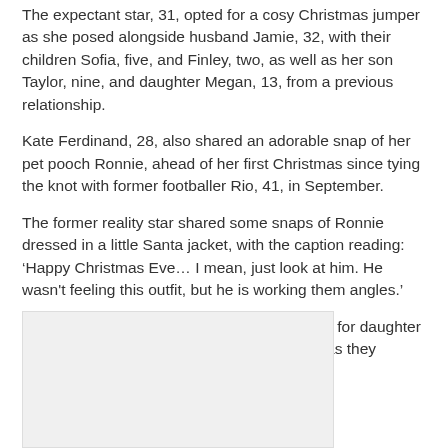The expectant star, 31, opted for a cosy Christmas jumper as she posed alongside husband Jamie, 32, with their children Sofia, five, and Finley, two, as well as her son Taylor, nine, and daughter Megan, 13, from a previous relationship.
Kate Ferdinand, 28, also shared an adorable snap of her pet pooch Ronnie, ahead of her first Christmas since tying the knot with former footballer Rio, 41, in September.
The former reality star shared some snaps of Ronnie dressed in a little Santa jacket, with the caption reading: ‘Happy Christmas Eve… I mean, just look at him. He wasn't feeling this outfit, but he is working them angles.’
EastEnders star Danny Dyer showed his love for daughter Dani with a cute selfie of their pouting skills, as they prepare to celebrate Christmas together.
[Figure (photo): Photo placeholder showing a light grey rectangle, likely an image related to the article content.]